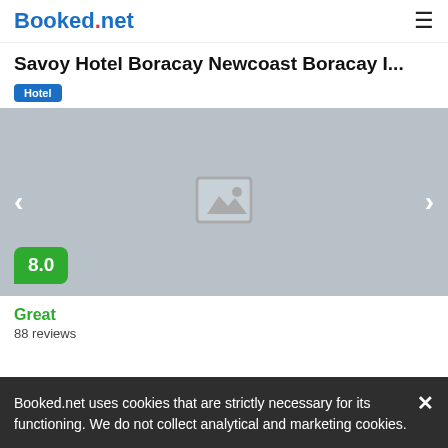Booked.net
Savoy Hotel Boracay Newcoast Boracay I...
Hotel
[Figure (photo): Hotel photo carousel placeholder with grey background and image placeholder icon, navigation arrows on left and right, rating badge showing 8.0 in green]
Great
88 reviews
Booked.net uses cookies that are strictly necessary for its functioning. We do not collect analytical and marketing cookies.